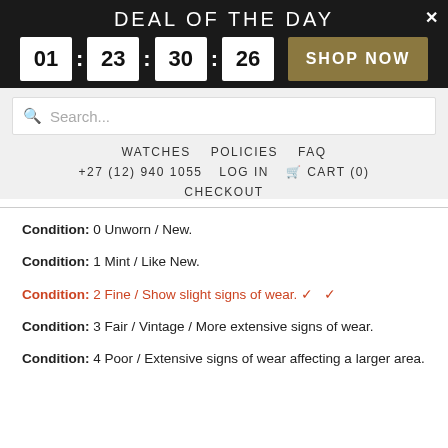DEAL OF THE DAY
01 : 23 : 30 : 26 SHOP NOW
Search...
WATCHES   POLICIES   FAQ
+27 (12) 940 1055   LOG IN   CART (0)
CHECKOUT
Condition: 0 Unworn / New.
Condition: 1 Mint / Like New.
Condition: 2 Fine / Show slight signs of wear. ✓  ✓
Condition: 3 Fair / Vintage / More extensive signs of wear.
Condition: 4 Poor / Extensive signs of wear affecting a larger area.